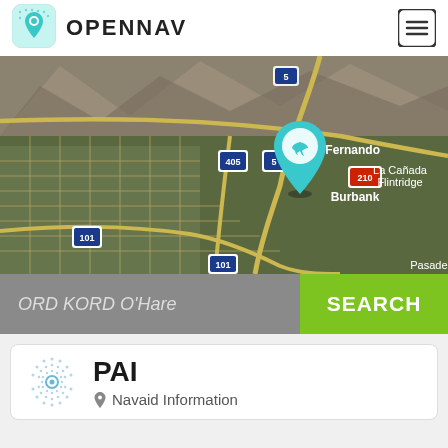[Figure (logo): OpenNav app icon - teal/cyan location pin with circle]
OPENNAV
[Figure (map): Satellite map showing San Fernando Valley area near Los Angeles with highways 5, 210, 405, 101 marked. Location pin with airplane icon placed near San Fernando. Burbank and La Cañada Flintridge visible.]
ORD KORD O'Hare
SEARCH
PAI
Navaid Information